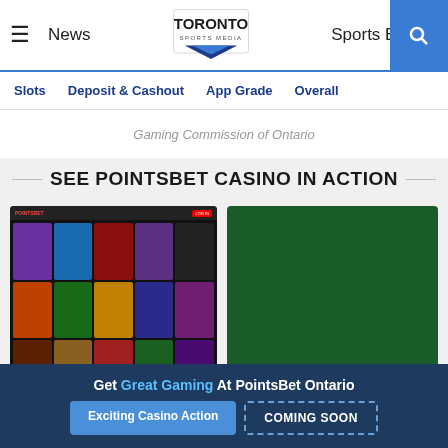News | Toronto Sports Media | Sports Betting
Slots | Deposit & Cashout | App Grade | Overall
Gaming Commission of Ontario
SEE POINTSBET CASINO IN ACTION
[Figure (screenshot): PointsBet Casino slots lobby showing a grid of colorful slot game tiles]
[Figure (screenshot): PointsBet Casino BlackJack table game with green felt table and golden bottom bar]
POINTSBET ONTARIO - SLOTS DEPTH
Get Great Gaming At PointsBet Ontario
Exciting Casino Action
COMING SOON